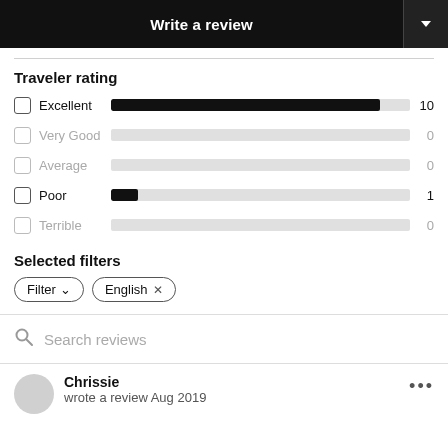Write a review
Traveler rating
Excellent 10
Very Good 0
Average 0
Poor 1
Terrible 0
Selected filters
Filter  English ×
Search reviews
Chrissie
wrote a review Aug 2019